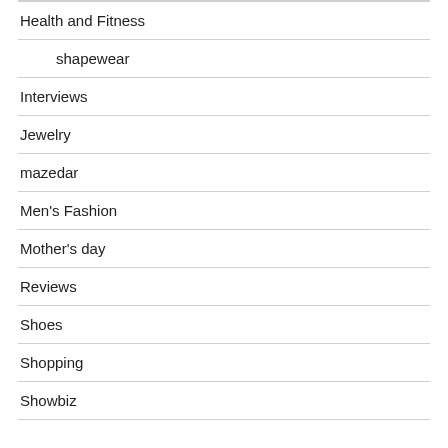Health and Fitness
shapewear
Interviews
Jewelry
mazedar
Men's Fashion
Mother's day
Reviews
Shoes
Shopping
Showbiz